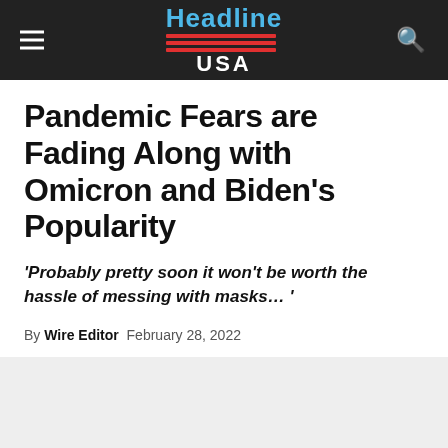Headline USA
Pandemic Fears are Fading Along with Omicron and Biden's Popularity
'Probably pretty soon it won't be worth the hassle of messing with masks… '
By Wire Editor  February 28, 2022